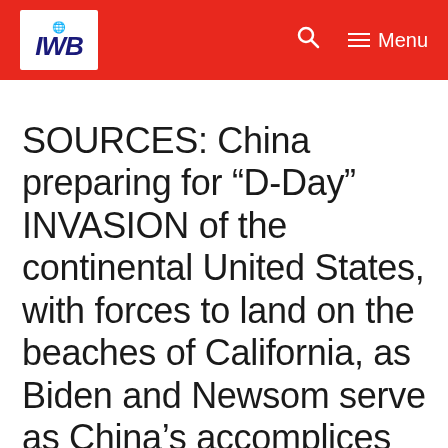IWB — Menu
SOURCES: China preparing for “D-Day” INVASION of the continental United States, with forces to land on the beaches of California, as Biden and Newsom serve as China’s accomplices
May 21, 2022 1:15 pm by IWB